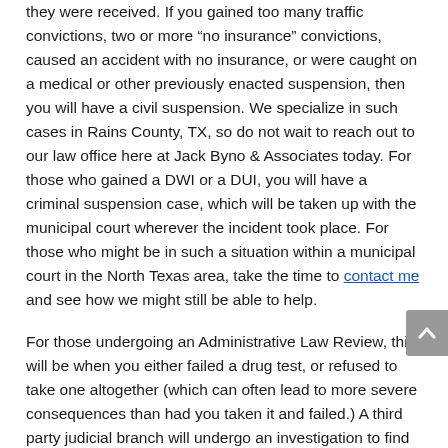they were received. If you gained too many traffic convictions, two or more “no insurance” convictions, caused an accident with no insurance, or were caught on a medical or other previously enacted suspension, then you will have a civil suspension. We specialize in such cases in Rains County, TX, so do not wait to reach out to our law office here at Jack Byno & Associates today. For those who gained a DWI or a DUI, you will have a criminal suspension case, which will be taken up with the municipal court wherever the incident took place. For those who might be in such a situation within a municipal court in the North Texas area, take the time to contact me and see how we might still be able to help.
For those undergoing an Administrative Law Review, this will be when you either failed a drug test, or refused to take one altogether (which can often lead to more severe consequences than had you taken it and failed.) A third party judicial branch will undergo an investigation to find out if the officer who implemented the breath test acted appropriately in order to find the whole case just or not, which it sometimes isn’t. Should you